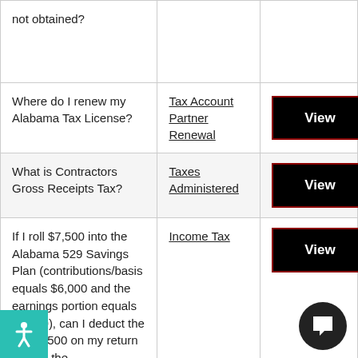| Question | Topic | Action |
| --- | --- | --- |
| not obtained? |  |  |
| Where do I renew my Alabama Tax License? | Tax Account Partner Renewal | View |
| What is Contractors Gross Receipts Tax? | Taxes Administered | View |
| If I roll $7,500 into the Alabama 529 Savings Plan (contributions/basis equals $6,000 and the earnings portion equals $1,500), can I deduct the full $7,500 on my return or only the [continues] | Income Tax | View |